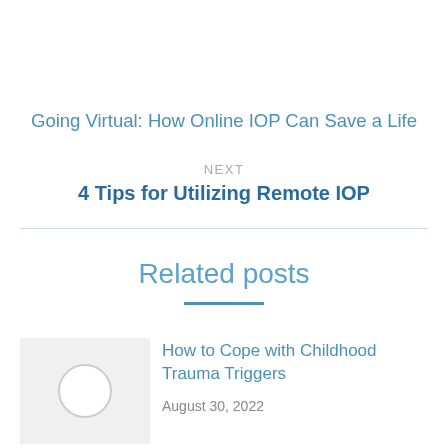Going Virtual: How Online IOP Can Save a Life
NEXT
4 Tips for Utilizing Remote IOP
Related posts
How to Cope with Childhood Trauma Triggers
August 30, 2022